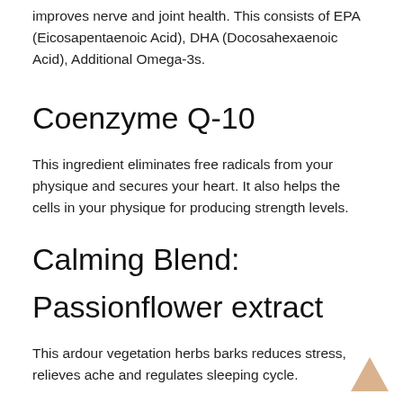improves nerve and joint health. This consists of EPA (Eicosapentaenoic Acid), DHA (Docosahexaenoic Acid), Additional Omega-3s.
Coenzyme Q-10
This ingredient eliminates free radicals from your physique and secures your heart. It also helps the cells in your physique for producing strength levels.
Calming Blend:
Passionflower extract
This ardour vegetation herbs barks reduces stress, relieves ache and regulates sleeping cycle.